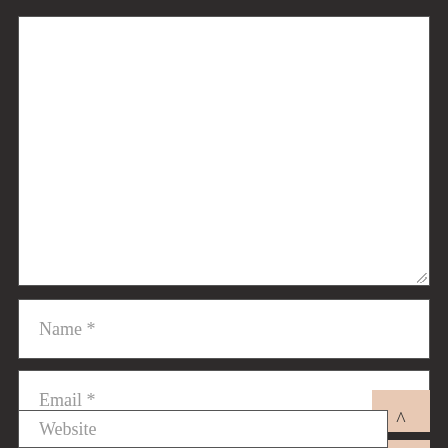[Figure (screenshot): A web form showing a large blank textarea with a resize handle at the bottom right, followed by form input fields labeled 'Name *', 'Email *', and 'Website', all on a dark charcoal background. A beige/peach colored button with an upward-pointing caret (^) is overlaid on the bottom-right of the Email field.]
Name *
Email *
Website